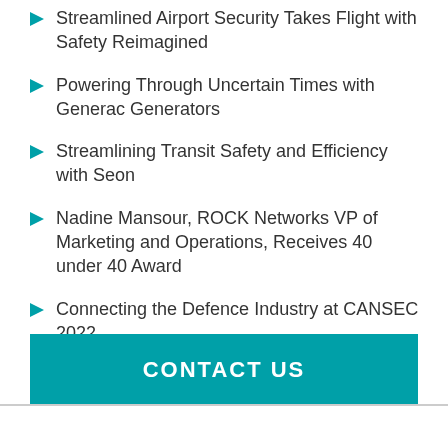Streamlined Airport Security Takes Flight with Safety Reimagined
Powering Through Uncertain Times with Generac Generators
Streamlining Transit Safety and Efficiency with Seon
Nadine Mansour, ROCK Networks VP of Marketing and Operations, Receives 40 under 40 Award
Connecting the Defence Industry at CANSEC 2022
CONTACT US